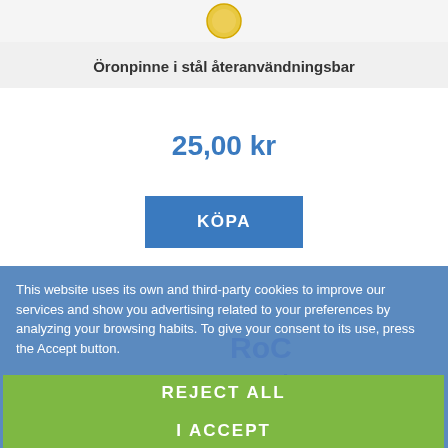[Figure (illustration): Coin/badge icon at top of product card]
Öronpinne i stål återanvändningsbar
25,00 kr
KÖPA
This website uses its own and third-party cookies to improve our services and show you advertising related to your preferences by analyzing your browsing habits. To give your consent to its use, press the Accept button.
More information   Customize cookies
REJECT ALL
I ACCEPT